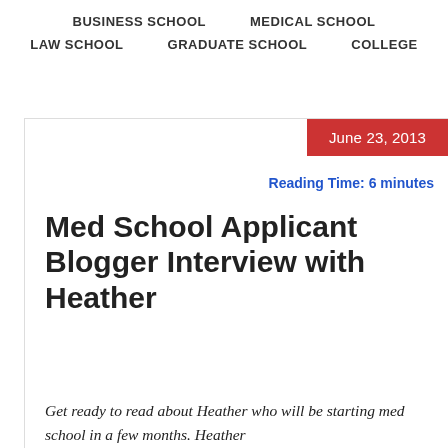BUSINESS SCHOOL    MEDICAL SCHOOL    LAW SCHOOL    GRADUATE SCHOOL    COLLEGE
June 23, 2013
Reading Time: 6 minutes
Med School Applicant Blogger Interview with Heather
Get ready to read about Heather who will be starting med school in a few months. Heather